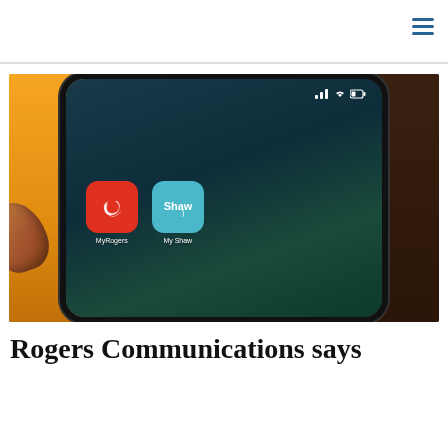[Figure (photo): Close-up photo of a smartphone screen showing two app icons: MyRogers (red rounded square with white swirl logo) and My Shaw (light blue rounded square with Shaw logo), with a finger touching the screen. Background is yellow/orange and dark brown.]
Rogers Communications says